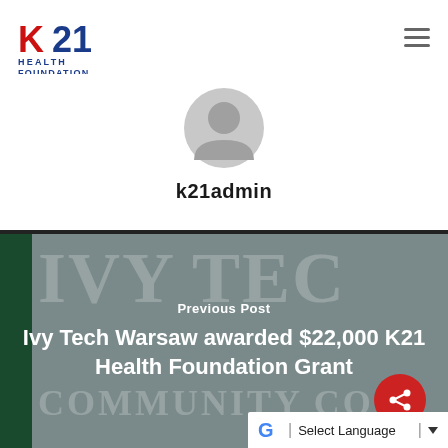[Figure (logo): K21 Health Foundation logo with red K, blue 21, and blue text HEALTH FOUNDATION]
[Figure (illustration): Gray default user avatar icon (circle with person silhouette)]
k21admin
[Figure (photo): Ivy Tech Community College sign banner image in gray/green, partially visible, used as background for Previous Post navigation]
Previous Post
Ivy Tech Warsaw awarded $22,000 K21 Health Foundation Grant
[Figure (other): Red circular share button with share icon]
Select Language